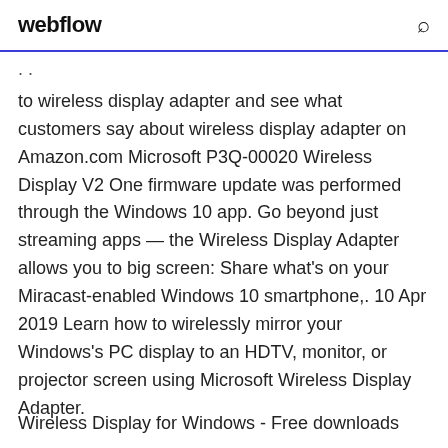webflow
to wireless display adapter and see what customers say about wireless display adapter on Amazon.com Microsoft P3Q-00020 Wireless Display V2 One firmware update was performed through the Windows 10 app. Go beyond just streaming apps — the Wireless Display Adapter allows you to big screen: Share what's on your Miracast-enabled Windows 10 smartphone,. 10 Apr 2019 Learn how to wirelessly mirror your Windows's PC display to an HDTV, monitor, or projector screen using Microsoft Wireless Display Adapter.
Wireless Display for Windows - Free downloads